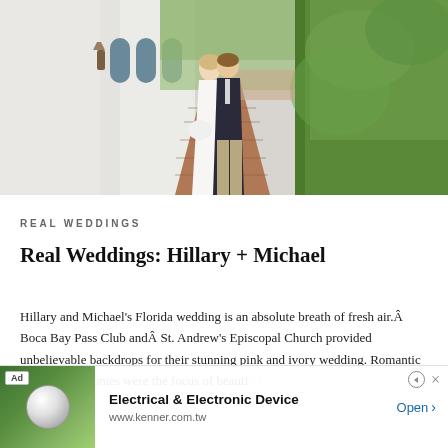[Figure (photo): Wedding couple standing on a brick pathway between a white stucco wall with arched windows on the left and green hedges on the right. Bride in white dress holding bouquet, groom in dark suit.]
REAL WEDDINGS
Real Weddings: Hillary + Michael
Hillary and Michael's Florida wedding is an absolute breath of fresh air.Â Boca Bay Pass Club andÂ St. Andrew's Episcopal Church provided unbelievable backdrops for their stunning pink and ivory wedding. Romantic and ruffled peonies were the focus of beauti... beautiful... gorgeous pho...
[Figure (other): Advertisement overlay: Ad badge, image of a golf ball on green background, text 'Electrical & Electronic Device', URL 'www.kenner.com.tw', and Open button with arrow.]